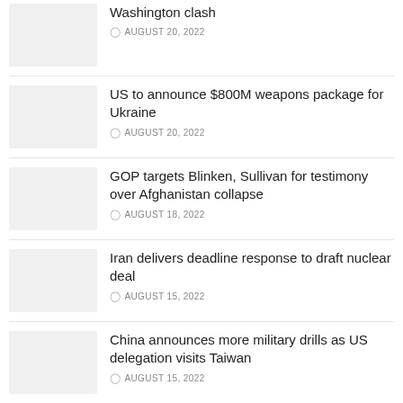Washington clash
AUGUST 20, 2022
US to announce $800M weapons package for Ukraine
AUGUST 20, 2022
GOP targets Blinken, Sullivan for testimony over Afghanistan collapse
AUGUST 18, 2022
Iran delivers deadline response to draft nuclear deal
AUGUST 15, 2022
China announces more military drills as US delegation visits Taiwan
AUGUST 15, 2022
US announces $89 million to help Ukraine clear land mines